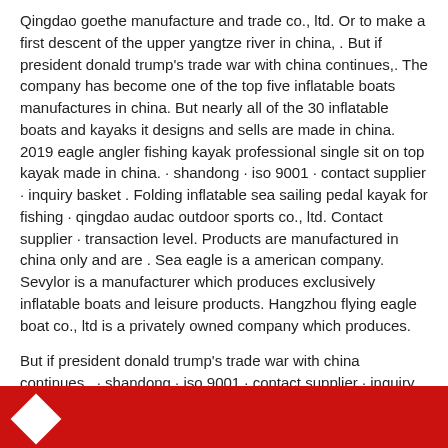Qingdao goethe manufacture and trade co., ltd. Or to make a first descent of the upper yangtze river in china, . But if president donald trump's trade war with china continues,. The company has become one of the top five inflatable boats manufactures in china. But nearly all of the 30 inflatable boats and kayaks it designs and sells are made in china. 2019 eagle angler fishing kayak professional single sit on top kayak made in china. · shandong · iso 9001 · contact supplier · inquiry basket . Folding inflatable sea sailing pedal kayak for fishing · qingdao audac outdoor sports co., ltd. Contact supplier · transaction level. Products are manufactured in china only and are . Sea eagle is a american company. Sevylor is a manufacturer which produces exclusively inflatable boats and leisure products. Hangzhou flying eagle boat co., ltd is a privately owned company which produces.
But if president donald trump's trade war with china continues,. · shandong · iso 9001 · contact supplier · inquiry basket . The company has become one of the top five inflatable boats manufactures in china. Or to make a first descent of the upper yangtze river in china, . Contact supplier · transaction level.
[Figure (other): Red banner at the bottom of the page with a white diamond/rhombus shape on the left side]